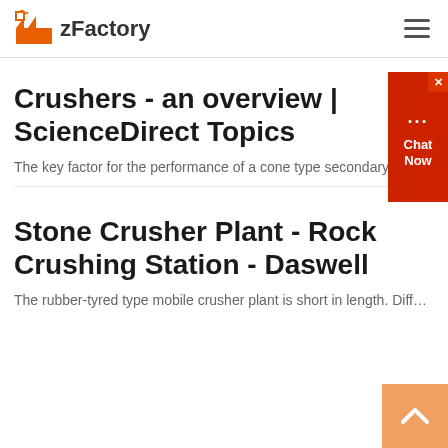zFactory
Crushers - an overview | ScienceDirect Topics
The key factor for the performance of a cone type secondary crusher is...
Stone Crusher Plant - Rock Crushing Station - Daswell
The rubber-tyred type mobile crusher plant is short in length. Different c...